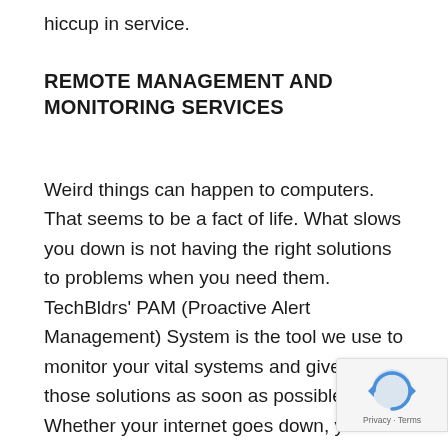hiccup in service.
REMOTE MANAGEMENT AND MONITORING SERVICES
Weird things can happen to computers. That seems to be a fact of life. What slows you down is not having the right solutions to problems when you need them. TechBldrs' PAM (Proactive Alert Management) System is the tool we use to monitor your vital systems and give you those solutions as soon as possible. Whether your internet goes down, you have a cybersecurity breach, or someone needs our help, PAM allows us to perform a remote session to manage your systems remotely and ensures that we can connect to you